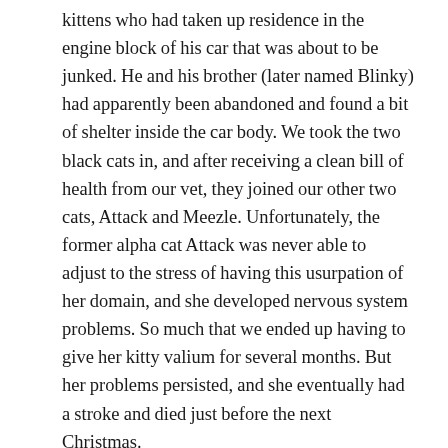kittens who had taken up residence in the engine block of his car that was about to be junked. He and his brother (later named Blinky) had apparently been abandoned and found a bit of shelter inside the car body. We took the two black cats in, and after receiving a clean bill of health from our vet, they joined our other two cats, Attack and Meezle. Unfortunately, the former alpha cat Attack was never able to adjust to the stress of having this usurpation of her domain, and she developed nervous system problems. So much that we ended up having to give her kitty valium for several months. But her problems persisted, and she eventually had a stroke and died just before the next Christmas.
We never knew if it was that he was looking for Attack, but Napoleon went missing right after we buried Attack